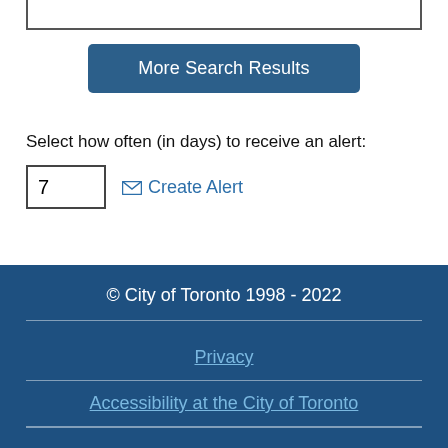More Search Results
Select how often (in days) to receive an alert:
7
✉ Create Alert
© City of Toronto 1998 - 2022
Privacy
Accessibility at the City of Toronto